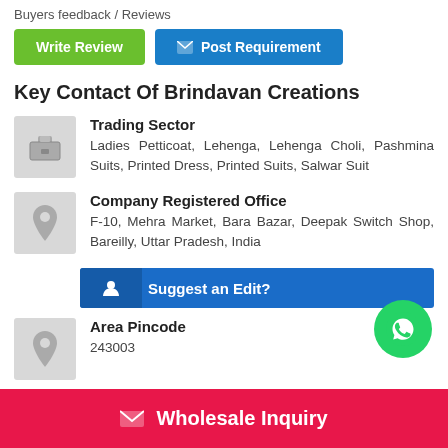Buyers feedback / Reviews
Write Review
Post Requirement
Key Contact Of Brindavan Creations
Trading Sector
Ladies Petticoat, Lehenga, Lehenga Choli, Pashmina Suits, Printed Dress, Printed Suits, Salwar Suit
Company Registered Office
F-10, Mehra Market, Bara Bazar, Deepak Switch Shop, Bareilly, Uttar Pradesh, India
Suggest an Edit?
Area Pincode
243003
Wholesale Inquiry